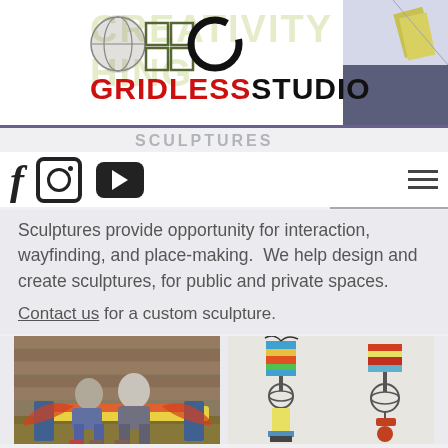[Figure (screenshot): Gridless Studio website screenshot showing logo, social icons navigation bar, sculptures section text, and two photos at the bottom.]
GRIDLESSSTUDIO
SCULPTURES
Sculptures provide opportunity for interaction, wayfinding, and place-making. We help design and create sculptures, for public and private spaces.
Contact us for a custom sculpture.
[Figure (photo): Two women sitting on a colorful bench in front of a shingled building with autumn leaves on the ground.]
[Figure (photo): Two colorful kinetic glass and metal sculptures on a white background.]